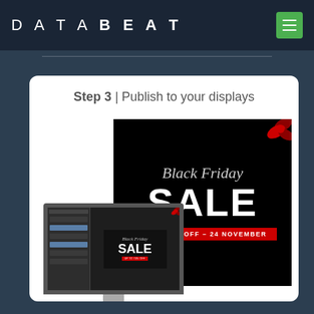DATABEAT
Step 3 | Publish to your displays
[Figure (screenshot): Screenshot showing a computer monitor displaying a content management interface, with a large TV screen showing a Black Friday Sale advertisement (UP TO 70% OFF – 24 NOVEMBER). An arrow points from the computer to the TV screen.]